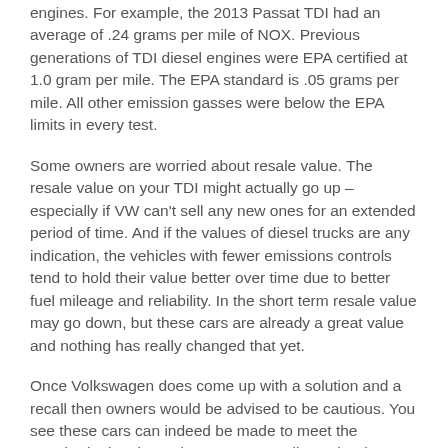engines.  For example, the 2013 Passat TDI had an average of .24 grams per mile of NOX.  Previous generations of TDI diesel engines were EPA certified at 1.0 gram per mile. The EPA standard is .05 grams per mile.  All other emission gasses were below the EPA limits in every test.
Some owners are worried about resale value. The resale value on your TDI might actually go up – especially if VW can't sell any new ones for an extended period of time.  And if the values of diesel trucks are any indication, the vehicles with fewer emissions controls tend to hold their value better over time due to better fuel mileage and reliability.  In the short term resale value may go down, but these cars are already a great value and nothing has really changed that yet.
Once Volkswagen does come up with a solution and a recall then owners would be advised to be cautious.  You see these cars can indeed be made to meet the standard.  They have done so repeatedly on the dyno test.  What we don't know for sure is why VW didn't want to run that same programming all the time on the highway.  They were probably concerned about decreased service life of emissions components and reduced fuel mileage.